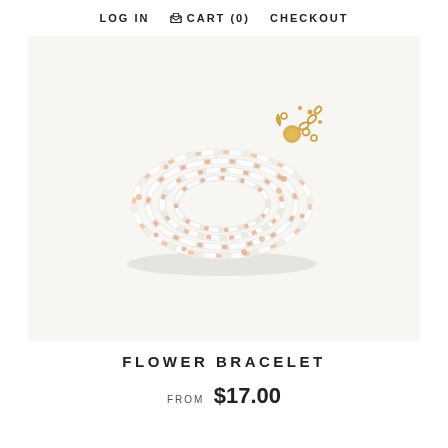LOG IN    CART (0)    CHECKOUT
[Figure (photo): A coiled white beaded bracelet with peach/orange crystal flower accents and a gold lobster clasp and chain extender, photographed on a light background.]
FLOWER BRACELET
FROM $17.00